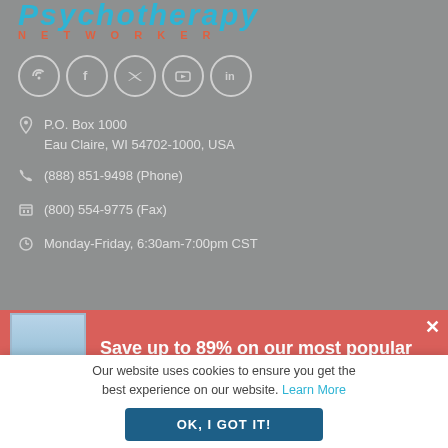Psychotherapy Networker
[Figure (infographic): Social media icons in circles: RSS, Facebook, Twitter, YouTube, LinkedIn]
P.O. Box 1000
Eau Claire, WI 54702-1000, USA
(888) 851-9498 (Phone)
(800) 554-9775 (Fax)
Monday-Friday, 6:30am-7:00pm CST
Save up to 89% on our most popular online trainings.
Our website uses cookies to ensure you get the best experience on our website. Learn More
OK, I GOT IT!